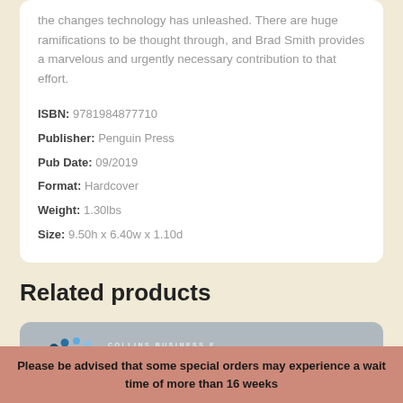the changes technology has unleashed. There are huge ramifications to be thought through, and Brad Smith provides a marvelous and urgently necessary contribution to that effort.
ISBN: 9781984877710
Publisher: Penguin Press
Pub Date: 09/2019
Format: Hardcover
Weight: 1.30lbs
Size: 9.50h x 6.40w x 1.10d
Related products
[Figure (logo): Collins Business Essentials logo on a grey rounded rectangle background]
Please be advised that some special orders may experience a wait time of more than 16 weeks